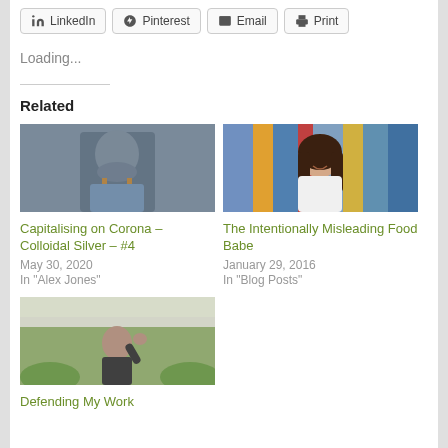[Figure (screenshot): Social share buttons row: LinkedIn, Pinterest, Email, Print]
Loading...
Related
[Figure (photo): Photo of elderly man with blue-gray skin (argyria), wearing suspenders]
Capitalising on Corona – Colloidal Silver – #4
May 30, 2020
In "Alex Jones"
[Figure (photo): Photo of smiling woman with long dark hair in white outfit against colorful background]
The Intentionally Misleading Food Babe
January 29, 2016
In "Blog Posts"
[Figure (photo): Photo of man raising hand outdoors under tent canopy]
Defending My Work